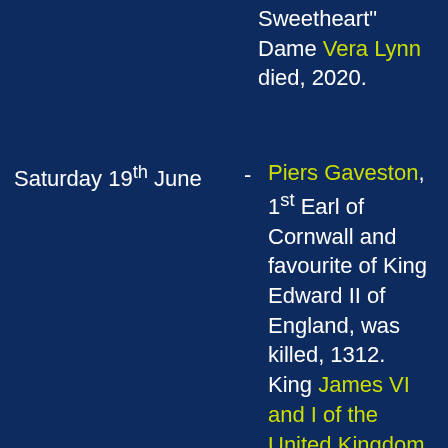Sweetheart" Dame Vera Lynn died, 2020.
Saturday 19th June - Piers Gaveston, 1st Earl of Cornwall and favourite of King Edward II of England, was killed, 1312. King James VI and I of the United Kingdom born, 1566. The First Roanoke Colony was abandoned, 1586. Sculptor Mary Callery born, 1903. Social worker and activist Grace Abbott died, 1939. Mass riots broke out in Shisou, China, over the death of a local